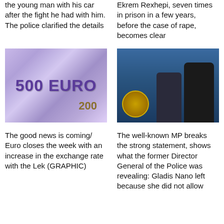the young man with his car after the fight he had with him. The police clarified the details
Ekrem Rexhepi, seven times in prison in a few years, before the case of rape, becomes clear
[Figure (photo): 500 Euro and 200 banknotes close-up]
[Figure (photo): Well-known MP and former Director General of Police, with police logo visible]
The good news is coming/ Euro closes the week with an increase in the exchange rate with the Lek (GRAPHIC)
The well-known MP breaks the strong statement, shows what the former Director General of the Police was revealing: Gladis Nano left because she did not allow